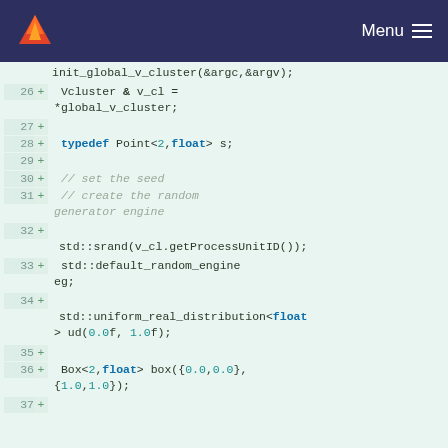[Figure (screenshot): GitLab navigation bar with logo and Menu hamburger icon on dark navy background]
Code diff view showing lines 26-37 of a C++ source file with additions marked by '+' signs. Content includes: init_global_v_cluster(&argc,&argv); Vcluster & v_cl = *global_v_cluster; typedef Point<2,float> s; // set the seed // create the random generator engine std::srand(v_cl.getProcessUnitID()); std::default_random_engine eg; std::uniform_real_distribution<float> ud(0.0f, 1.0f); Box<2,float> box({0.0,0.0},{1.0,1.0});